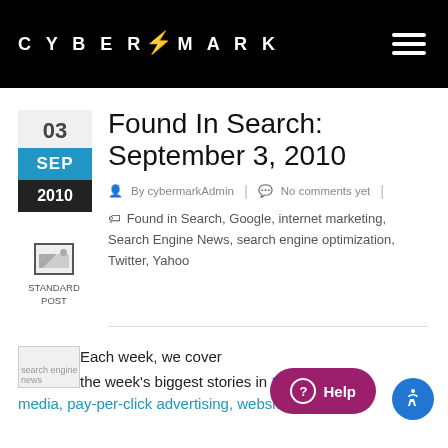CYBERMARK
Found In Search: September 3, 2010
By cybermarkAdmin | No comments yet |
Found in Search, Google, internet marketing, Search Engine News, search engine optimization, Twitter, Yahoo
[Figure (photo): Thumbnail image placeholder labeled 'search engine news']
Each week, we cover the week's biggest stories in SEO, social media, pay-per-click advertising, website